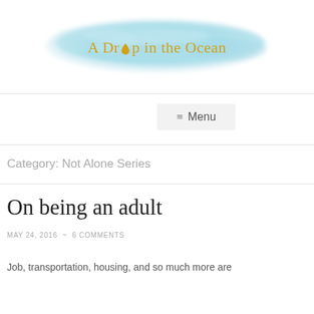[Figure (logo): A Drop in the Ocean blog logo with a watercolor blue brushstroke background and golden/amber text with a water droplet replacing the 'o' in Drop]
Category: Not Alone Series
On being an adult
MAY 24, 2016  ~  6 COMMENTS
Job, transportation, housing, and so much more are